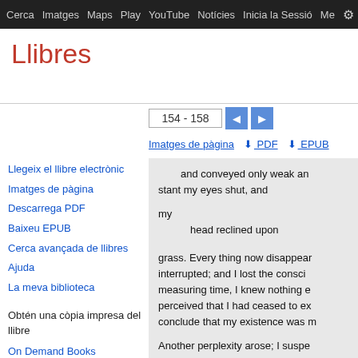Cerca  Imatges  Maps  Play  YouTube  Notícies  Inicia la Sessió  Me  ⚙
Llibres
154 - 158
Imatges de pàgina  ↓ PDF  ↓ EPUB
Llegeix el llibre electrònic
Imatges de pàgina
Descarrega PDF
Baixeu EPUB
Cerca avançada de llibres
Ajuda
La meva biblioteca
Obtén una còpia impresa del llibre
On Demand Books
Amazon
Cerca en una biblioteca
Tots els venedors »
and conveyed only weak an stant my eyes shut, and

my
    head reclined upon

grass. Every thing now disappear interrupted; and I lost the consci measuring time, I knew nothing e perceived that I had ceased to ex conclude that my existence was m

Another perplexity arose; I suspe different senses, and endeavored